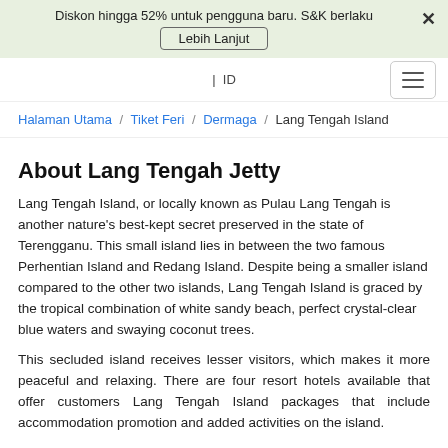Diskon hingga 52% untuk pengguna baru. S&K berlaku
Lebih Lanjut
| ID
Halaman Utama / Tiket Feri / Dermaga / Lang Tengah Island
About Lang Tengah Jetty
Lang Tengah Island, or locally known as Pulau Lang Tengah is another nature's best-kept secret preserved in the state of Terengganu. This small island lies in between the two famous Perhentian Island and Redang Island. Despite being a smaller island compared to the other two islands, Lang Tengah Island is graced by the tropical combination of white sandy beach, perfect crystal-clear blue waters and swaying coconut trees.
This secluded island receives lesser visitors, which makes it more peaceful and relaxing. There are four resort hotels available that offer customers Lang Tengah Island packages that include accommodation promotion and added activities on the island.